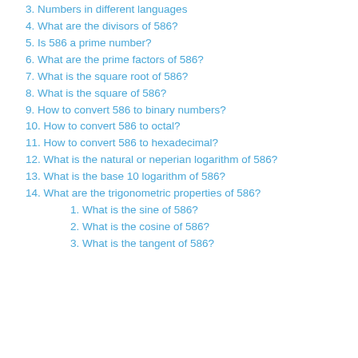3. Numbers in different languages
4. What are the divisors of 586?
5. Is 586 a prime number?
6. What are the prime factors of 586?
7. What is the square root of 586?
8. What is the square of 586?
9. How to convert 586 to binary numbers?
10. How to convert 586 to octal?
11. How to convert 586 to hexadecimal?
12. What is the natural or neperian logarithm of 586?
13. What is the base 10 logarithm of 586?
14. What are the trigonometric properties of 586?
1. What is the sine of 586?
2. What is the cosine of 586?
3. What is the tangent of 586?